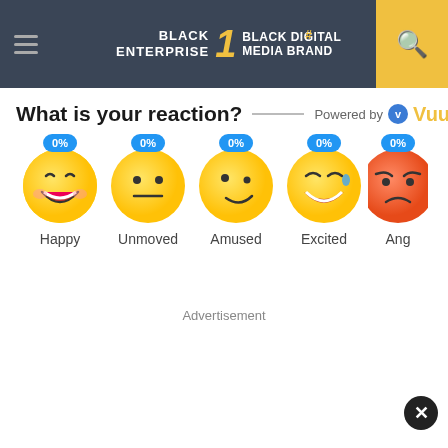BLACK ENTERPRISE THE #1 BLACK DIGITAL MEDIA BRAND
What is your reaction?
Powered by Vuukle
[Figure (infographic): Five emoji reaction buttons labeled Happy, Unmoved, Amused, Excited, and Angry (partially visible), each with a 0% badge on top]
Advertisement